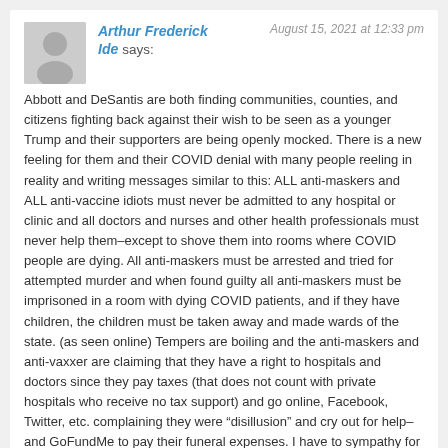Arthur Frederick Ide says:
August 15, 2021 at 12:33 pm
Abbott and DeSantis are both finding communities, counties, and citizens fighting back against their wish to be seen as a younger Trump and their supporters are being openly mocked. There is a new feeling for them and their COVID denial with many people reeling in reality and writing messages similar to this: ALL anti-maskers and ALL anti-vaccine idiots must never be admitted to any hospital or clinic and all doctors and nurses and other health professionals must never help them–except to shove them into rooms where COVID people are dying. All anti-maskers must be arrested and tried for attempted murder and when found guilty all anti-maskers must be imprisoned in a room with dying COVID patients, and if they have children, the children must be taken away and made wards of the state. (as seen online) Tempers are boiling and the anti-maskers and anti-vaxxer are claiming that they have a right to hospitals and doctors since they pay taxes (that does not count with private hospitals who receive no tax support) and go online, Facebook, Twitter, etc. complaining they were “disillusion” and cry out for help–and GoFundMe to pay their funeral expenses. I have to sympathy for them.
Reply
Cami Swan
August 26, 2021 at 6:06 pm